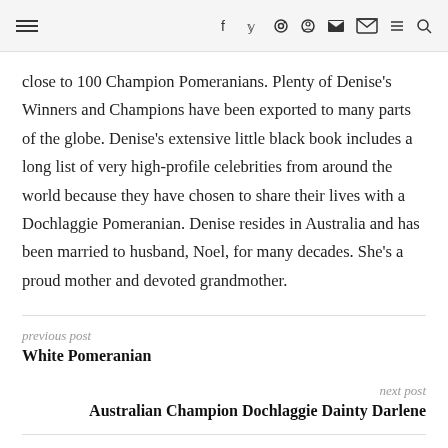☰  f  𝕥  ⊙  𝗽  ▶  ✉  ≡  🔍
close to 100 Champion Pomeranians. Plenty of Denise's Winners and Champions have been exported to many parts of the globe. Denise's extensive little black book includes a long list of very high-profile celebrities from around the world because they have chosen to share their lives with a Dochlaggie Pomeranian. Denise resides in Australia and has been married to husband, Noel, for many decades. She's a proud mother and devoted grandmother.
previous post
White Pomeranian
next post
Australian Champion Dochlaggie Dainty Darlene